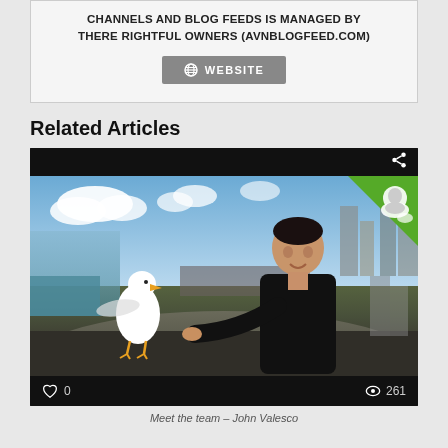CHANNELS AND BLOG FEEDS IS MANAGED BY THERE RIGHTFUL OWNERS (AVNBLOGFEED.COM)
[Figure (screenshot): Website button with globe icon]
Related Articles
[Figure (photo): Video thumbnail showing a man pointing at a seagull near Niagara Falls with a share icon, heart/0 count and eye/261 count]
Meet the team – John Valesco